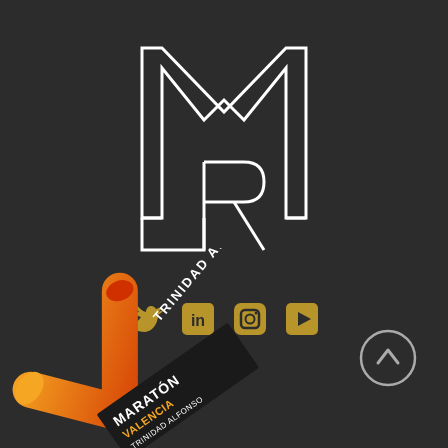[Figure (logo): MR monogram logo in white outline on dark background, large letter M with an R below it inside a square frame]
[Figure (infographic): Social media icons: Twitter bird, LinkedIn 'in' box, Instagram camera box, YouTube play button box — all in golden/tan color]
[Figure (logo): Maratón Valencia Trinidad Alfonso logo — a checkmark/V shape in orange-red gradient with paint splash, text 'MARATÓN VALENCIA TRINIDAD ALFONSO' rotated diagonally]
[Figure (illustration): Circular arrow-up scroll button in light gray outline on dark background, positioned bottom right]